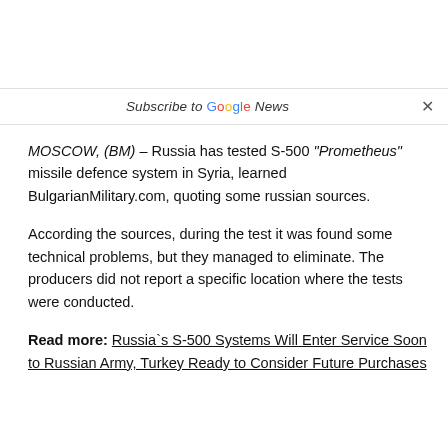Subscribe to Google News  ×
MOSCOW, (BM) – Russia has tested S-500 "Prometheus" missile defence system in Syria, learned BulgarianMilitary.com, quoting some russian sources.
According the sources, during the test it was found some technical problems, but they managed to eliminate. The producers did not report a specific location where the tests were conducted.
Read more: Russia`s S-500 Systems Will Enter Service Soon to Russian Army, Turkey Ready to Consider Future Purchases